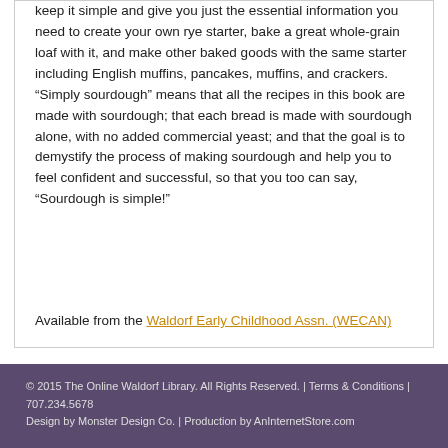keep it simple and give you just the essential information you need to create your own rye starter, bake a great whole-grain loaf with it, and make other baked goods with the same starter including English muffins, pancakes, muffins, and crackers. “Simply sourdough” means that all the recipes in this book are made with sourdough; that each bread is made with sourdough alone, with no added commercial yeast; and that the goal is to demystify the process of making sourdough and help you to feel confident and successful, so that you too can say, “Sourdough is simple!”
Available from the Waldorf Early Childhood Assn. (WECAN)
© 2015 The Online Waldorf Library. All Rights Reserved. | Terms & Conditions | 707.234.5678
Design by Monster Design Co. | Production by AnInternetStore.com